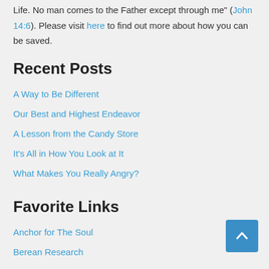Life. No man comes to the Father except through me" (John 14:6). Please visit here to find out more about how you can be saved.
Recent Posts
A Way to Be Different
Our Best and Highest Endeavor
A Lesson from the Candy Store
It's All in How You Look at It
What Makes You Really Angry?
Favorite Links
Anchor for The Soul
Berean Research
CARM